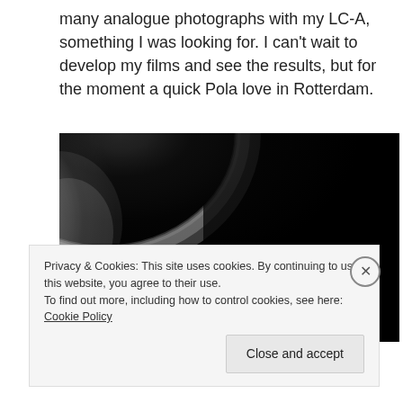many analogue photographs with my LC-A, something I was looking for. I can't wait to develop my films and see the results, but for the moment a quick Pola love in Rotterdam.
[Figure (photo): A high-contrast black and white photograph showing a bright light source (possibly sun or lamp) against a very dark/black background, with a curved bright arc in the upper left area fading into deep black.]
Privacy & Cookies: This site uses cookies. By continuing to use this website, you agree to their use.
To find out more, including how to control cookies, see here: Cookie Policy
Close and accept